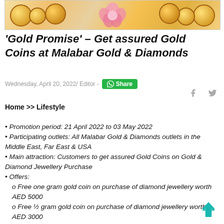[Figure (illustration): Banner image showing gold coins and pink flowers on a decorative background]
'Gold Promise' – Get assured Gold Coins at Malabar Gold & Diamonds
Wednesday, April 20, 2022/ Editor -
Home >> Lifestyle
• Promotion period: 21 April 2022 to 03 May 2022
• Participating outlets: All Malabar Gold & Diamonds outlets in the Middle East, Far East & USA
• Main attraction: Customers to get assured Gold Coins on Gold & Diamond Jewellery Purchase
• Offers:
o Free one gram gold coin on purchase of diamond jewellery worth AED 5000
o Free ½ gram gold coin on purchase of diamond jewellery worth AED 3000